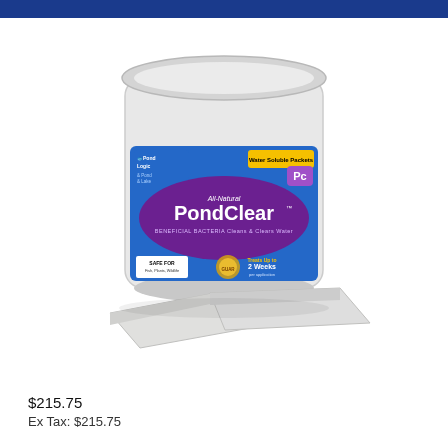[Figure (photo): PondClear All-Natural beneficial bacteria product in a clear plastic bucket with water-soluble packets shown in front. Label shows Pond Logic / Pond & Lake branding, 'Water Soluble Packets' yellow badge, 'Pc' logo, 'All-Natural PondClear' in large text on purple oval, 'BENEFICIAL BACTERIA Cleans & Clears Water', 'SAFE FOR' section, and two white water-soluble packets lying in front of the bucket.]
$215.75
Ex Tax: $215.75